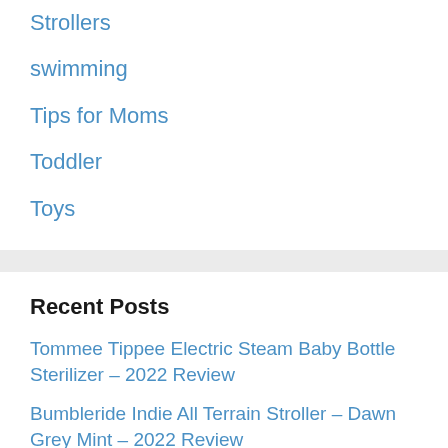Strollers
swimming
Tips for Moms
Toddler
Toys
Recent Posts
Tommee Tippee Electric Steam Baby Bottle Sterilizer – 2022 Review
Bumbleride Indie All Terrain Stroller – Dawn Grey Mint – 2022 Review
5 Best Stainless Steel Baby Bottle – 2022 Reviews and Guide